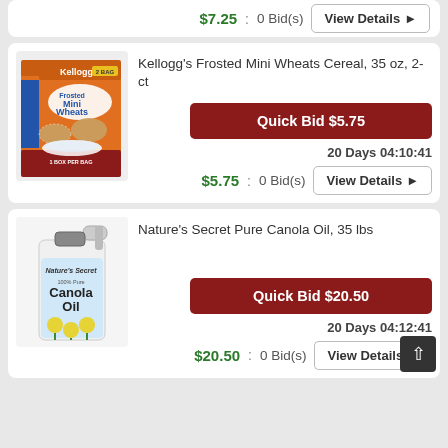$7.25 : 0 Bid(s) View Details >
[Figure (photo): Kellogg's Frosted Mini Wheats cereal box, orange packaging, 2-pack]
Kellogg's Frosted Mini Wheats Cereal, 35 oz, 2-ct
Quick Bid $5.75
20 Days 04:10:41
$5.75 : 0 Bid(s) View Details >
[Figure (photo): Nature's Secret Pure Canola Oil container, 35 lbs, white jug with yellow flowers]
Nature's Secret Pure Canola Oil, 35 lbs
Quick Bid $20.50
20 Days 04:12:41
$20.50 : 0 Bid(s) View Details >